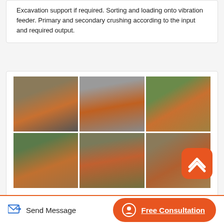Excavation support if required. Sorting and loading onto vibration feeder. Primary and secondary crushing according to the input and required output.
[Figure (photo): A 2×3 grid of six photos showing mobile crushing and screening plant equipment and stone crushing operations at various industrial sites. Orange-colored heavy machinery including jaw crushers, cone crushers, and conveyor systems are visible across the six images.]
Mobile Crushing And Screening Plant Stone Crushing
Send Message
Free Consultation